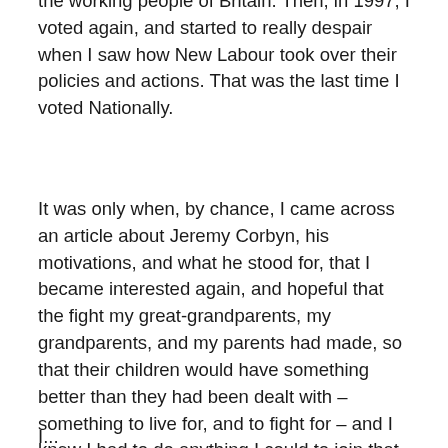the working people of Britain. Then, in 1997, I voted again, and started to really despair when I saw how New Labour took over their policies and actions. That was the last time I voted Nationally.
It was only when, by chance, I came across an article about Jeremy Corbyn, his motivations, and what he stood for, that I became interested again, and hopeful that the fight my great-grandparents, my grandparents, and my parents had made, so that their children would have something better than they had been dealt with – something to live for, and to fight for – and I knew I had to do anything I could to join that fight.
I...